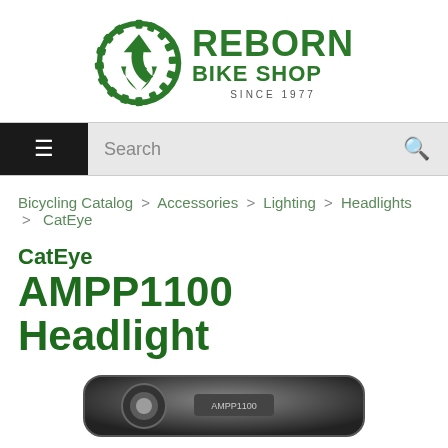[Figure (logo): Reborn Bike Shop logo — green gear/recycle symbol with REBORN BIKE SHOP text and SINCE 1977]
Search
Bicycling Catalog > Accessories > Lighting > Headlights > CatEye
CatEye AMPP1100 Headlight
[Figure (photo): Partial view of the CatEye AMPP1100 Headlight product — dark grey/black headlight device]